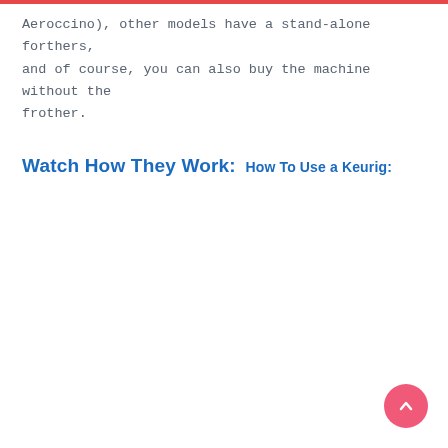Aeroccino), other models have a stand-alone forthers, and of course, you can also buy the machine without the frother.
Watch How They Work:
How To Use a Keurig: